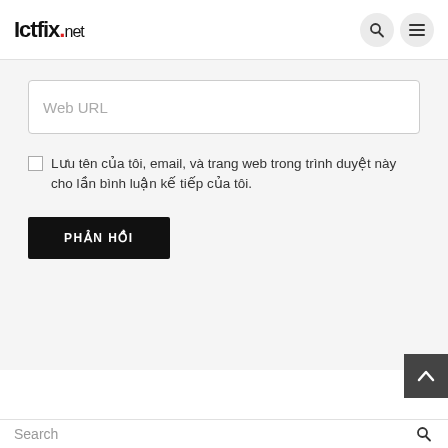Ictfix.net
Web URL
Lưu tên của tôi, email, và trang web trong trình duyệt này cho lần bình luận kế tiếp của tôi.
PHẢN HỒI
Search